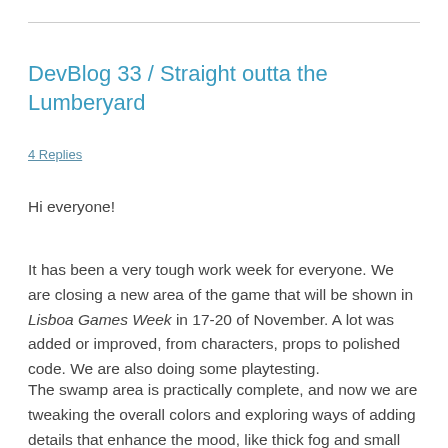DevBlog 33 / Straight outta the Lumberyard
4 Replies
Hi everyone!
It has been a very tough work week for everyone. We are closing a new area of the game that will be shown in Lisboa Games Week in 17-20 of November. A lot was added or improved, from characters, props to polished code. We are also doing some playtesting.
The swamp area is practically complete, and now we are tweaking the overall colors and exploring ways of adding details that enhance the mood, like thick fog and small water puddles.